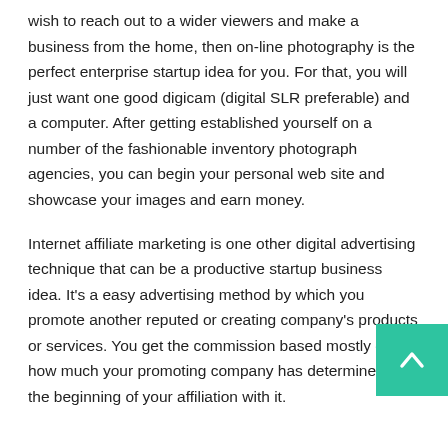wish to reach out to a wider viewers and make a business from the home, then on-line photography is the perfect enterprise startup idea for you. For that, you will just want one good digicam (digital SLR preferable) and a computer. After getting established yourself on a number of the fashionable inventory photograph agencies, you can begin your personal web site and showcase your images and earn money.
Internet affiliate marketing is one other digital advertising technique that can be a productive startup business idea. It's a easy advertising method by which you promote another reputed or creating company's products or services. You get the commission based mostly on how much your promoting company has determined at the beginning of your affiliation with it.